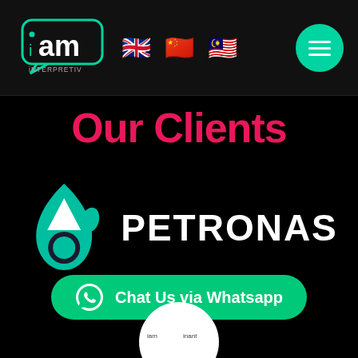[Figure (logo): iAM Interpretiv logo - teal speech bubble with 'iam' text and 'iNTERPRETIV' below, white on dark background]
[Figure (infographic): Three circular flag icons: UK flag, China flag (red with yellow star), Malaysia flag]
[Figure (other): Green circular menu/hamburger button with three white lines]
Our Clients
[Figure (logo): PETRONAS logo - teal stylized flame/droplet icon on left, PETRONAS text in white bold on right]
[Figure (other): Green rounded rectangle button with WhatsApp icon and text: Chat Us via Whatsapp]
[Figure (other): Partial circular badge at bottom of page, partially cut off]